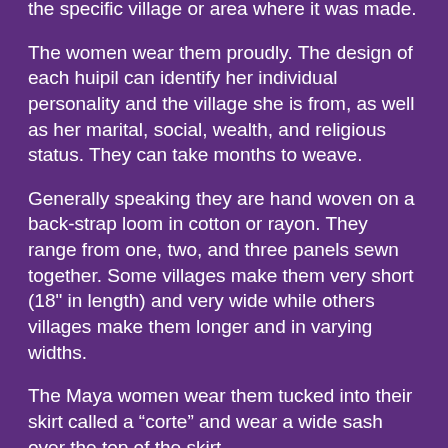the specific village or area where it was made.
The women wear them proudly. The design of each huipil can identify her individual personality and the village she is from, as well as her marital, social, wealth, and religious status. They can take months to weave.
Generally speaking they are hand woven on a back-strap loom in cotton or rayon. They range from one, two, and three panels sewn together. Some villages make them very short (18" in length) and very wide while others villages make them longer and in varying widths.
The Maya women wear them tucked into their skirt called a “corte” and wear a wide sash over the top of the skirt.
Express your own style. Rock it with jeans and boots, looks great with pencil skirt, broomstick skirt, capris, even a